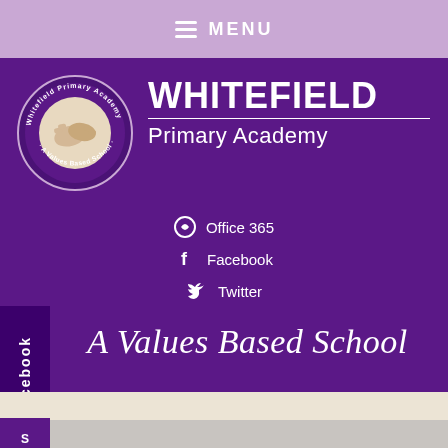MENU
[Figure (logo): Whitefield Primary Academy circular logo with handshake illustration and text 'Whitefield Primary Academy - A Values Based School']
WHITEFIELD Primary Academy
Office 365
Facebook
Twitter
A Values Based School
Facebook